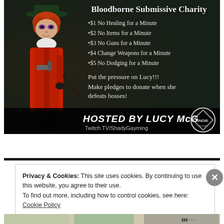[Figure (photo): Charity event poster for 'Bloodborne Submissive Charity' showing a person dressed in a red coat and hat with dramatic makeup on a dark background, with text listing donation tiers and event details hosted by Lucy McG on Twitch.TV/ShadyGayming]
Privacy & Cookies: This site uses cookies. By continuing to use this website, you agree to their use.
To find out more, including how to control cookies, see here: Cookie Policy
Close and accept